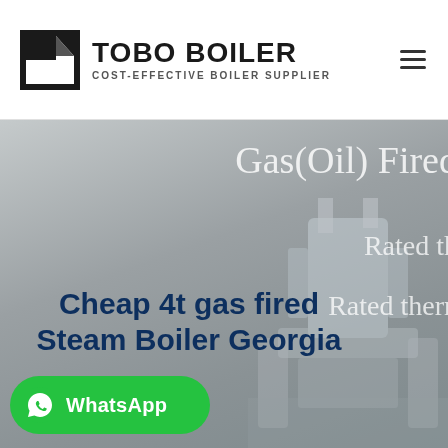TOBO BOILER — COST-EFFECTIVE BOILER SUPPLIER
[Figure (photo): Hero banner showing industrial gas-fired steam boiler equipment in gray tones with partial text overlay reading 'Gas(Oil) Fired', 'Rated th...', 'Rated therm...']
Cheap 4t gas fired Steam Boiler Georgia
[Figure (logo): WhatsApp button with green background, WhatsApp phone icon, and 'WhatsApp' text label]